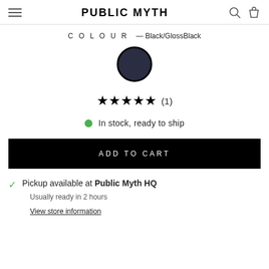PUBLIC MYTH
COLOUR — Black/GlossBlack
[Figure (other): Dark navy/black circular color swatch with black border]
★★★★★ (1)
In stock, ready to ship
ADD TO CART
Pickup available at Public Myth HQ
Usually ready in 2 hours
View store information